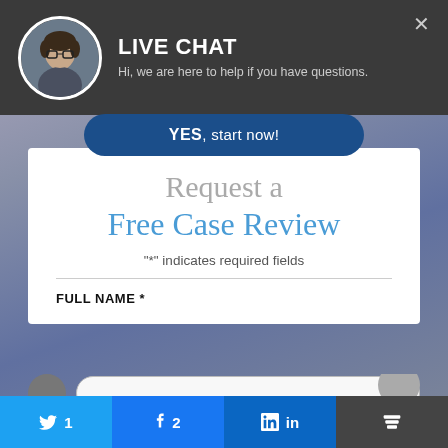[Figure (screenshot): Live chat popup header with female avatar photo, 'LIVE CHAT' title, subtitle text, YES button, and a white card form for requesting a free case review. Bottom social share bar with Twitter (1), Facebook (2), LinkedIn, and a stacking/more button.]
LIVE CHAT
Hi, we are here to help if you have questions.
YES, start now!
Request a Free Case Review
"*" indicates required fields
FULL NAME *